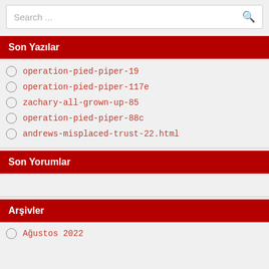[Figure (screenshot): Search bar with placeholder 'Search ...' and a search icon on the right]
Son Yazılar
operation-pied-piper-19
operation-pied-piper-117e
zachary-all-grown-up-85
operation-pied-piper-88c
andrews-misplaced-trust-22.html
Son Yorumlar
Arşivler
Ağustos 2022